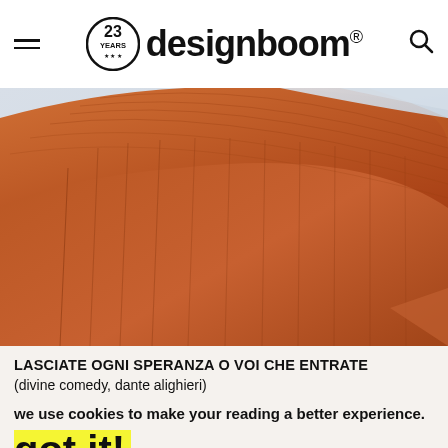designboom® — 23 Years
[Figure (photo): Close-up architectural photo of curved terracotta/rust-colored corrugated panels sweeping against a light sky — UAE pavilion by Foster]
LASCIATE OGNI SPERANZA O VOI CHE ENTRATE
(divine comedy, dante alighieri)
we use cookies to make your reading a better experience.
got it!
more info >